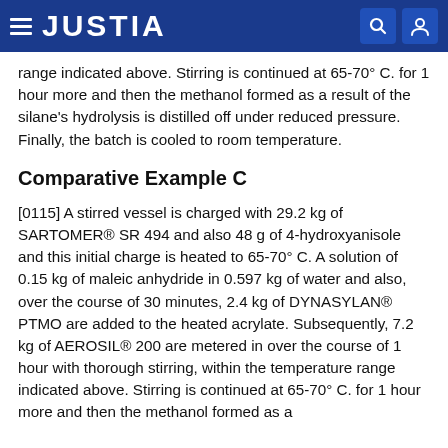JUSTIA
range indicated above. Stirring is continued at 65-70° C. for 1 hour more and then the methanol formed as a result of the silane's hydrolysis is distilled off under reduced pressure. Finally, the batch is cooled to room temperature.
Comparative Example C
[0115] A stirred vessel is charged with 29.2 kg of SARTOMER® SR 494 and also 48 g of 4-hydroxyanisole and this initial charge is heated to 65-70° C. A solution of 0.15 kg of maleic anhydride in 0.597 kg of water and also, over the course of 30 minutes, 2.4 kg of DYNASYLAN® PTMO are added to the heated acrylate. Subsequently, 7.2 kg of AEROSIL® 200 are metered in over the course of 1 hour with thorough stirring, within the temperature range indicated above. Stirring is continued at 65-70° C. for 1 hour more and then the methanol formed as a